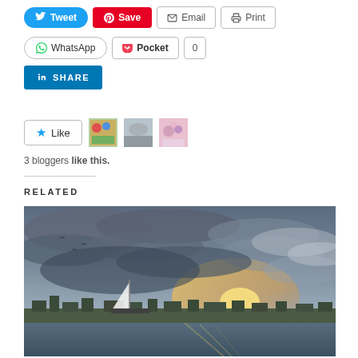[Figure (screenshot): Social share buttons: Tweet (blue), Save/Pinterest (red), Email, Print, WhatsApp, Pocket (with count 0), LinkedIn Share]
[Figure (screenshot): Like button with star icon and three blogger avatar thumbnails]
3 bloggers like this.
RELATED
[Figure (photo): Sunset over a harbor with a sailboat and city skyline, dramatic cloudy sky with golden light breaking through clouds]